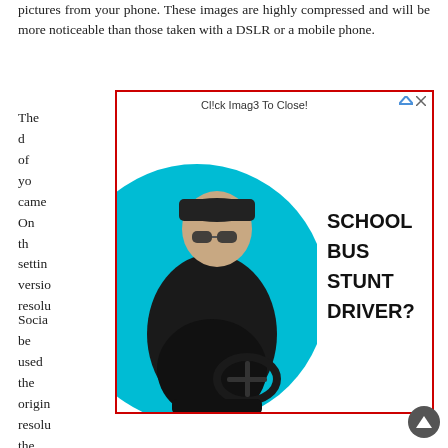pictures from your phone. These images are highly compressed and will be more noticeable than those taken with a DSLR or a mobile phone.
[Figure (other): Advertisement overlay with red border showing 'Cl!ck Imag3 To Close!' header and an image of a man in leather jacket and sunglasses holding a steering wheel against a cyan circle background, with bold text 'SCHOOL BUS STUNT DRIVER?']
The d... ccess of yo... frame came... hone. On th... lution settin... lution versio... igher-resolu...
Socia... ot be used... ss the origin... high-resolu... cepts the m... vorks, but Instagram isn't supported. You can print any size of your photo, and you can choose from a range of options, from phone-specific sizes to canvas and wood prints. You can get a